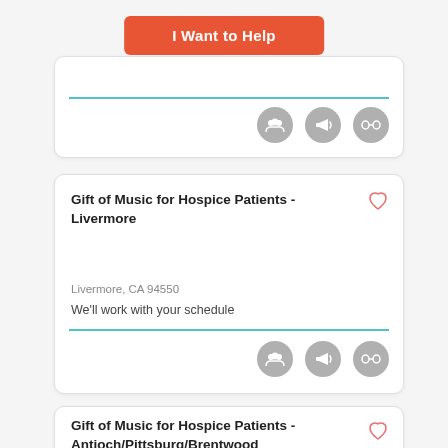I Want to Help
[Figure (infographic): Partial volunteer listing card with teal divider line and three gray icon circles (group, megaphone, glasses)]
Gift of Music for Hospice Patients - Livermore
Livermore, CA 94550
We'll work with your schedule
[Figure (infographic): Three gray icon circles: group of people, megaphone/microphone, glasses]
Gift of Music for Hospice Patients - Antioch/Pittsburg/Brentwood